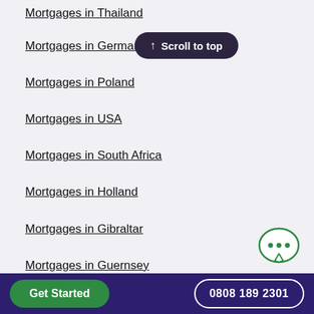Mortgages in Thailand
Mortgages in Germany
Mortgages in Poland
Mortgages in USA
Mortgages in South Africa
Mortgages in Holland
Mortgages in Gibraltar
Mortgages in Guernsey
Mortgages in Jersey
Mortgages in Monaco
Mortgages in France
Get Started   0808 189 2301